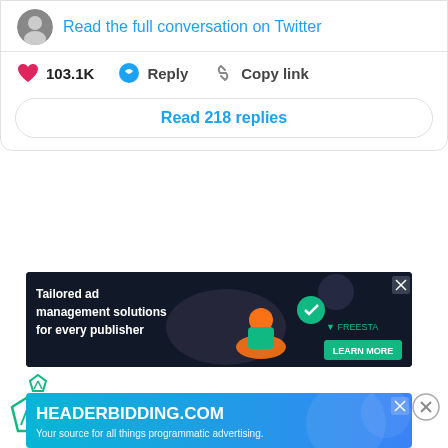Read the full conversation on Twitter
103.1K   Reply   Copy link
Read 218 replies
[Figure (screenshot): Dark advertisement banner: Tailored ad management solutions for every publisher — Freesta, Learn More button]
[Figure (logo): Small Freesta/Prebid logo icon in teal/green]
[Figure (logo): Large Freesta/Prebid logo icon in teal/green]
[Figure (screenshot): HEADERBIDDING.COM — Your source for all things programmatic advertising. Colorful teal/blue gradient banner ad.]